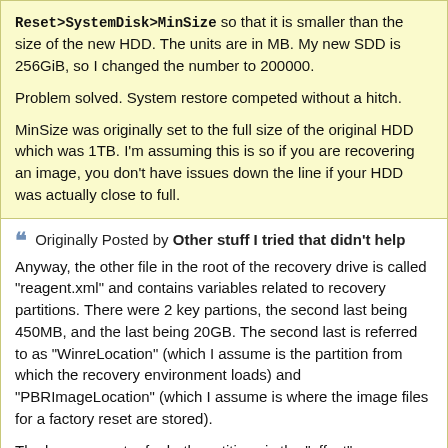Reset>SystemDisk>MinSize so that it is smaller than the size of the new HDD. The units are in MB. My new SDD is 256GiB, so I changed the number to 200000.

Problem solved. System restore competed without a hitch.

MinSize was originally set to the full size of the original HDD which was 1TB. I'm assuming this is so if you are recovering an image, you don't have issues down the line if your HDD was actually close to full.
Originally Posted by Other stuff I tried that didn't help
Anyway, the other file in the root of the recovery drive is called "reagent.xml" and contains variables related to recovery partitions. There were 2 key partions, the second last being 450MB, and the last being 20GB. The second last is referred to as "WinreLocation" (which I assume is the partition from which the recovery environment loads) and "PBRImageLocation" (which I assume is where the image files for a factory reset are stored).

The key parameter for both partitions is the "offset",